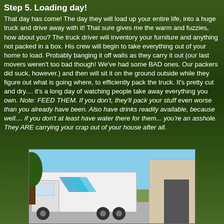Step 5. Loading day!
That day has come! The day they will load up your entire life, into a huge truck and drive away with it! That sure gives me the warm and fuzzies, how about you? The truck driver will inventory your furniture and anything not packed in a box. His crew will begin to take everything out of your home to load. Probably banging it off walls as they carry it out (our last movers weren't too bad though! We've had some BAD ones. Our packers did suck, however.) and then will sit it on the ground outside while they figure out what is going where, to efficiently pack the truck. It's pretty cut and dry.... it's a long day of watching people take away everything you own. Note: FEED THEM. If you don't, they'll pack your stuff even worse than you already have been. Also have drinks readily available, because well.... if you don't at least have water there for them... you're an asshole. They ARE carrying your crap out of your house after all.
[Figure (photo): Photo of a moving truck parked outside a building on a sunny day with blue sky and green trees in the background.]